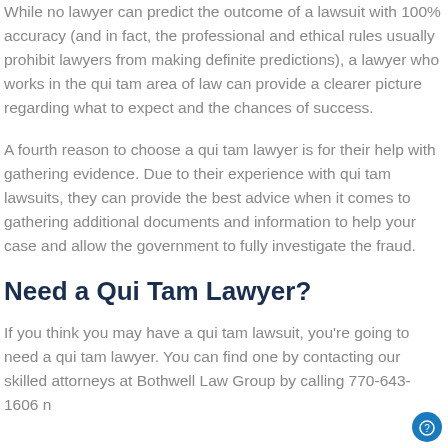While no lawyer can predict the outcome of a lawsuit with 100% accuracy (and in fact, the professional and ethical rules usually prohibit lawyers from making definite predictions), a lawyer who works in the qui tam area of law can provide a clearer picture regarding what to expect and the chances of success.
A fourth reason to choose a qui tam lawyer is for their help with gathering evidence. Due to their experience with qui tam lawsuits, they can provide the best advice when it comes to gathering additional documents and information to help your case and allow the government to fully investigate the fraud.
Need a Qui Tam Lawyer?
If you think you may have a qui tam lawsuit, you're going to need a qui tam lawyer. You can find one by contacting our skilled attorneys at Bothwell Law Group by calling 770-643-1606 n